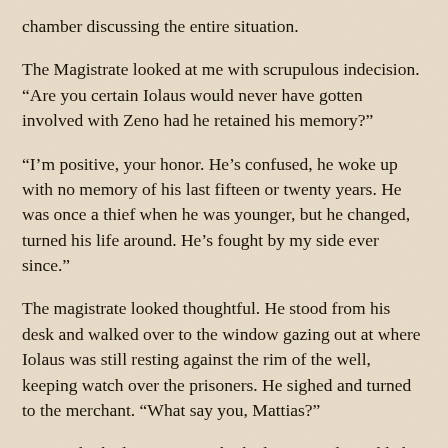chamber discussing the entire situation.
The Magistrate looked at me with scrupulous indecision. “Are you certain Iolaus would never have gotten involved with Zeno had he retained his memory?”
“I’m positive, your honor. He’s confused, he woke up with no memory of his last fifteen or twenty years. He was once a thief when he was younger, but he changed, turned his life around. He’s fought by my side ever since.”
The magistrate looked thoughtful. He stood from his desk and walked over to the window gazing out at where Iolaus was still resting against the rim of the well, keeping watch over the prisoners. He sighed and turned to the merchant. “What say you, Mattias?”
Mattias looked nervous. He looked at me and I nodded to him to proceed. He cleared his throat. “Your Honor,